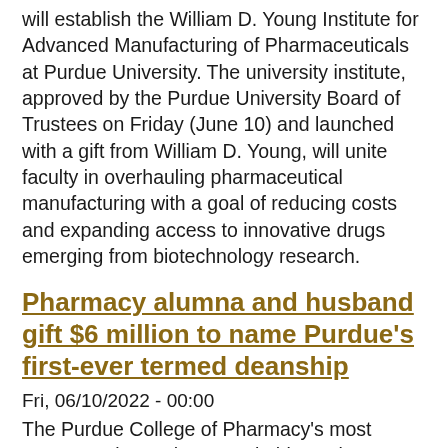will establish the William D. Young Institute for Advanced Manufacturing of Pharmaceuticals at Purdue University. The university institute, approved by the Purdue University Board of Trustees on Friday (June 10) and launched with a gift from William D. Young, will unite faculty in overhauling pharmaceutical manufacturing with a goal of reducing costs and expanding access to innovative drugs emerging from biotechnology research.
Pharmacy alumna and husband gift $6 million to name Purdue's first-ever termed deanship
Fri, 06/10/2022 - 00:00
The Purdue College of Pharmacy's most generous donors have made history by funding the first-ever termed deanship at the university.